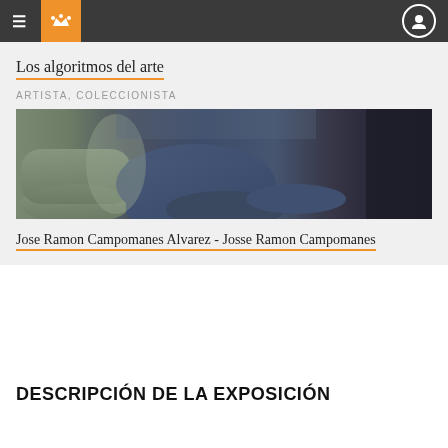≡  [logo crown]  [user icon]
Los algoritmos del arte
ARTISTA, COLECCIONISTA
[Figure (photo): Person sitting in a grey armchair, wearing a blue suit, dark background on the right side]
Jose Ramon Campomanes Alvarez - Josse Ramon Campomanes
DESCRIPCIÓN DE LA EXPOSICIÓN